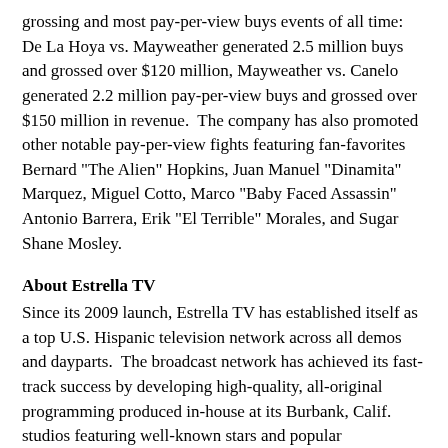grossing and most pay-per-view buys events of all time: De La Hoya vs. Mayweather generated 2.5 million buys and grossed over $120 million, Mayweather vs. Canelo generated 2.2 million pay-per-view buys and grossed over $150 million in revenue.  The company has also promoted other notable pay-per-view fights featuring fan-favorites Bernard "The Alien" Hopkins, Juan Manuel "Dinamita" Marquez, Miguel Cotto, Marco "Baby Faced Assassin" Antonio Barrera, Erik "El Terrible" Morales, and Sugar Shane Mosley.
About Estrella TV
Since its 2009 launch, Estrella TV has established itself as a top U.S. Hispanic television network across all demos and dayparts.  The broadcast network has achieved its fast-track success by developing high-quality, all-original programming produced in-house at its Burbank, Calif. studios featuring well-known stars and popular personalities from the U.S. and Latin America.  Estrella TV has built a catalog of more than 7,500 hours of programming now being distributed by the company to broadcasters worldwide. Estrella TV is owned and operated by Liberman Broadcasting, Inc., a leading Spanish-language, minority-owned media and entertainment company and one of the largest Spanish-language